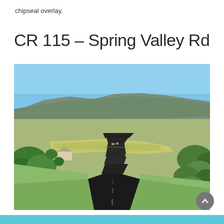chipseal overlay.
CR 115 – Spring Valley Rd
[Figure (photo): Aerial perspective view of a freshly paved dark asphalt road (CR 115 – Spring Valley Rd) winding through a valley with green shrubs and trees on both sides, open grassland fields, and a large mesa/mountain ridge in the background under a clear blue sky.]